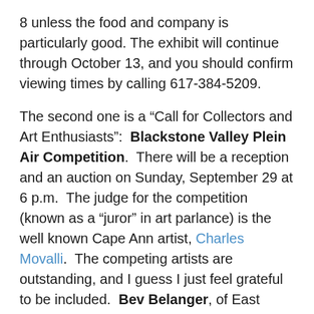8 unless the food and company is particularly good.  The exhibit will continue through October 13, and you should confirm viewing times by calling 617-384-5209.
The second one is a “Call for Collectors and Art Enthusiasts”:  Blackstone Valley Plein Air Competition.  There will be a reception and an auction on Sunday, September 29 at 6 p.m.  The judge for the competition (known as a “juror” in art parlance) is the well known Cape Ann artist, Charles Movalli.  The competing artists are outstanding, and I guess I just feel grateful to be included.  Bev Belanger, of East Colony Fine Art Gallery, is also participating.  I should be scared to death, but I’m too old to get worked up over such things.  I think.  It would be awfully nice to see some familiar faces or names.  The address for the reception and auction:  Alternatives’ Whitin